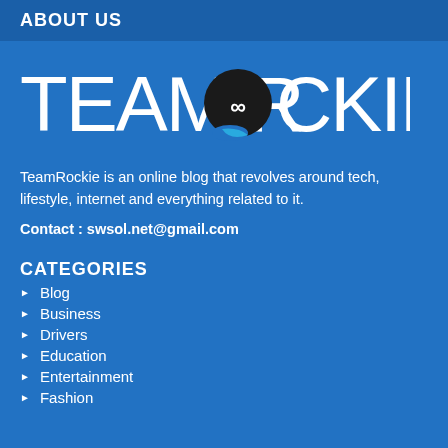ABOUT US
[Figure (logo): Team Rockie logo — large white text 'TEAM ROCKIE' with a stylized dark speech bubble containing infinity symbol replacing the 'O' in ROCKIE, with a blue swoosh accent]
TeamRockie is an online blog that revolves around tech, lifestyle, internet and everything related to it.
Contact : swsol.net@gmail.com
CATEGORIES
Blog
Business
Drivers
Education
Entertainment
Fashion